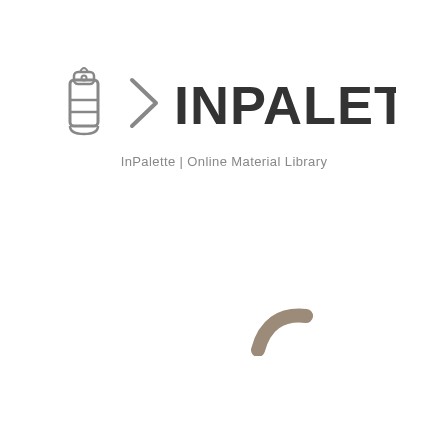[Figure (logo): InPalette logo with paint tube icon and arrow chevron, followed by INPALETTE in dark gray bold sans-serif text, and tagline 'InPalette | Online Material Library' below]
[Figure (illustration): Small taupe/brown curved arc shape, like a partial ring or spinner segment, positioned in the lower-center area of the page]